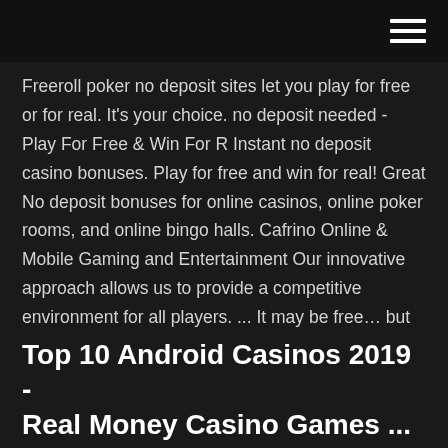Freeroll poker no deposit sites let you play for free or for real. It's your choice. no deposit needed - Play For Free & Win For R Instant no deposit casino bonuses. Play for free and win for real! Great No deposit bonuses for online casinos, online poker rooms, and online bingo halls. Cafrino Online & Mobile Gaming and Entertainment Our innovative approach allows us to provide a competitive environment for all players. ... It may be free… but you'll need to win your way to the big games. Earn your way to the top! ... players play as if they were playing with their own money. Players need to be competitive to maintain their standings. USA No Deposit Online Casinos - Free Cash Bonuses - No ...
Top 10 Android Casinos 2019 - Real Money Casino Games ...